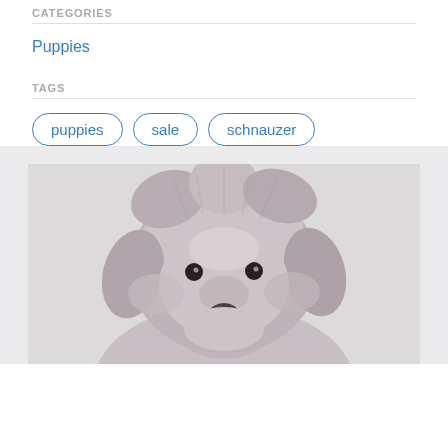CATEGORIES
Puppies
TAGS
puppies
sale
schnauzer
[Figure (photo): Close-up photo of a fluffy schnauzer puppy with gray and white fur looking at the camera, light background]